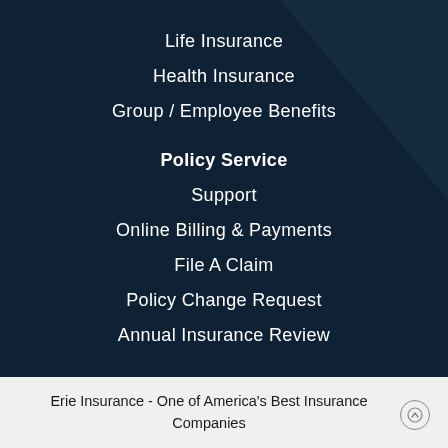Life Insurance
Health Insurance
Group / Employee Benefits
Policy Service
Support
Online Billing & Payments
File A Claim
Policy Change Request
Annual Insurance Review
Erie Insurance - One of America's Best Insurance Companies